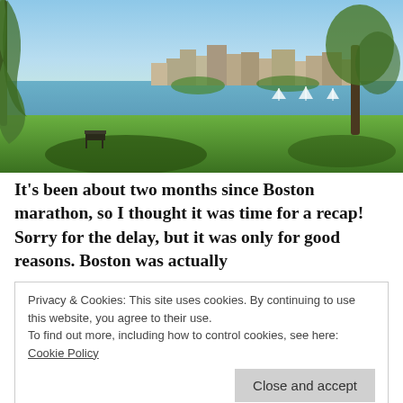[Figure (photo): Scenic view of Boston skyline across the Charles River with green parkland in the foreground, trees, and sailboats on the water under a blue sky.]
It's been about two months since Boston marathon, so I thought it was time for a recap! Sorry for the delay, but it was only for good reasons. Boston was actually
Privacy & Cookies: This site uses cookies. By continuing to use this website, you agree to their use.
To find out more, including how to control cookies, see here: Cookie Policy
Close and accept
I won't go into the details of the logistics/expo/course,